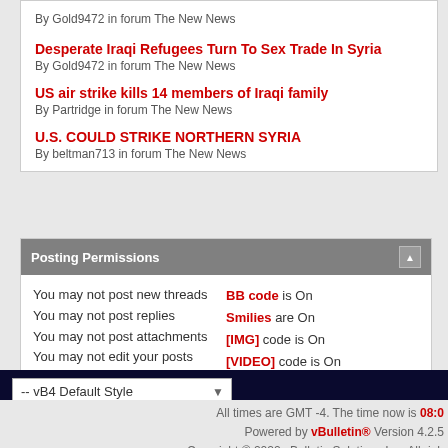By Gold9472 in forum The New News
Desperate Iraqi Refugees Turn To Sex Trade In Syria
By Gold9472 in forum The New News
US air strike kills 14 members of Iraqi family
By Partridge in forum The New News
U.S. COULD STRIKE NORTHERN SYRIA
By beltman713 in forum The New News
Posting Permissions
You may not post new threads
You may not post replies
You may not post attachments
You may not edit your posts
BB code is On
Smilies are On
[IMG] code is On
[VIDEO] code is On
HTML code is Off
Forum Rules
-- vB4 Default Style
All times are GMT -4. The time now is 08:0
Powered by vBulletin® Version 4.2.5
Copyright © 2022 vBulletin Solutions Inc. All righ